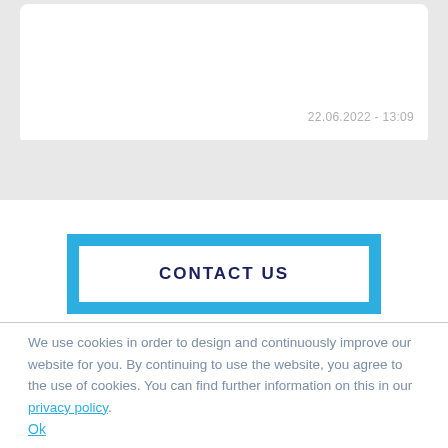22.06.2022 - 13:09
[Figure (screenshot): Website screenshot fragment showing a white card element on a grey background with a wavy bottom edge, timestamp '22.06.2022 - 13:09' in light grey at lower right of card, and a 'CONTACT US' button with blue border below.]
CONTACT US
We use cookies in order to design and continuously improve our website for you. By continuing to use the website, you agree to the use of cookies. You can find further information on this in our privacy policy.
Ok